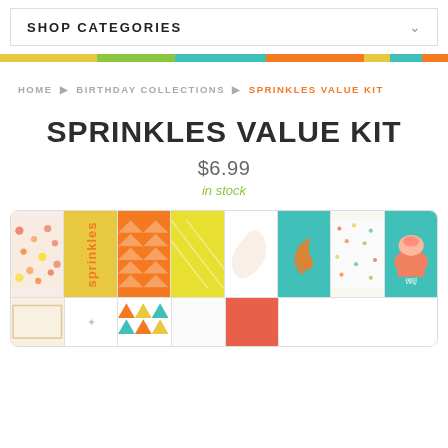SHOP CATEGORIES
HOME ▶ BIRTHDAY COLLECTIONS ▶ SPRINKLES VALUE KIT
SPRINKLES VALUE KIT
$6.99
in stock
[Figure (photo): Product kit showing multiple colorful scrapbooking/journaling cards with floral patterns, geometric designs, a cupcake illustration, and the text 'sweet thing' on a teal background, arranged in two rows.]